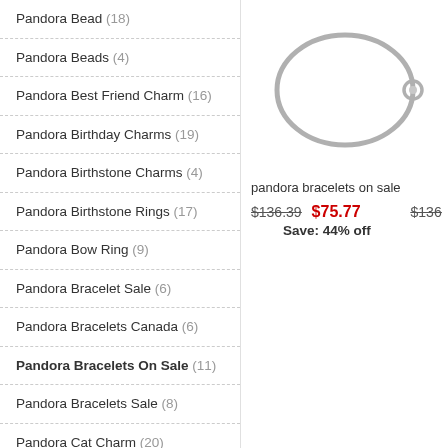Pandora Bead (18)
Pandora Beads (4)
Pandora Best Friend Charm (16)
Pandora Birthday Charms (19)
Pandora Birthstone Charms (4)
Pandora Birthstone Rings (17)
Pandora Bow Ring (9)
Pandora Bracelet Sale (6)
Pandora Bracelets Canada (6)
Pandora Bracelets On Sale (11)
Pandora Bracelets Sale (8)
Pandora Cat Charm (20)
Pandora Charm Bracelets (3)
Pandora Charm Necklace (6)
Pandora Charm Sale (20)
[Figure (photo): Silver Pandora bracelet with a small spherical clasp on a white background]
pandora bracelets on sale
$136.39  $75.77
Save: 44% off